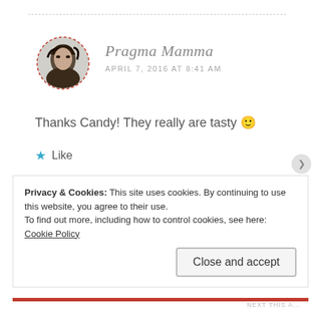[Figure (photo): Circular avatar photo of a woman with dark hair, bordered by a dashed red circle]
Pragma Mamma
APRIL 7, 2016 AT 8:41 AM
Thanks Candy! They really are tasty 🙂
★ Like
Reply
Privacy & Cookies: This site uses cookies. By continuing to use this website, you agree to their use.
To find out more, including how to control cookies, see here: Cookie Policy
Close and accept